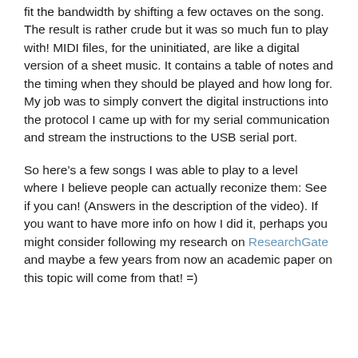fit the bandwidth by shifting a few octaves on the song. The result is rather crude but it was so much fun to play with! MIDI files, for the uninitiated, are like a digital version of a sheet music. It contains a table of notes and the timing when they should be played and how long for. My job was to simply convert the digital instructions into the protocol I came up with for my serial communication and stream the instructions to the USB serial port.
So here's a few songs I was able to play to a level where I believe people can actually reconize them: See if you can! (Answers in the description of the video). If you want to have more info on how I did it, perhaps you might consider following my research on ResearchGate and maybe a few years from now an academic paper on this topic will come from that! =)